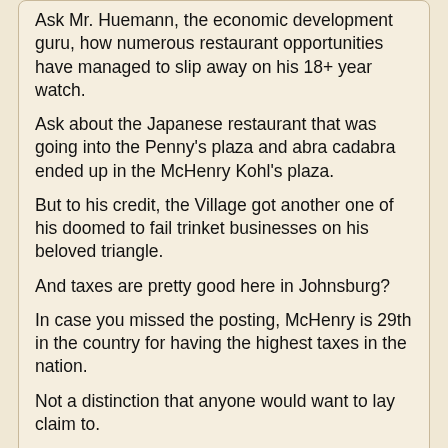Ask Mr. Huemann, the economic development guru, how numerous restaurant opportunities have managed to slip away on his 18+ year watch.
Ask about the Japanese restaurant that was going into the Penny's plaza and abra cadabra ended up in the McHenry Kohl's plaza.
But to his credit, the Village got another one of his doomed to fail trinket businesses on his beloved triangle.
And taxes are pretty good here in Johnsburg?
In case you missed the posting, McHenry is 29th in the country for having the highest taxes in the nation.
Not a distinction that anyone would want to lay claim to.
Re-elect Hettermann and company and the only growth you'll see will be the weeds in your lawn.
Uncle Sam on 04/09/2013 at 10:24 am said:
I see the Village accountant now provides a scathing posting on the Johnsburg First website.